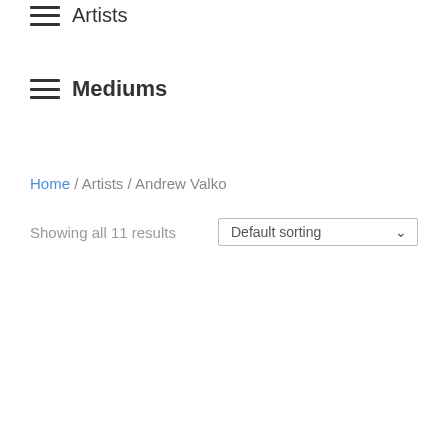Artists
Mediums
Home / Artists / Andrew Valko
Showing all 11 results